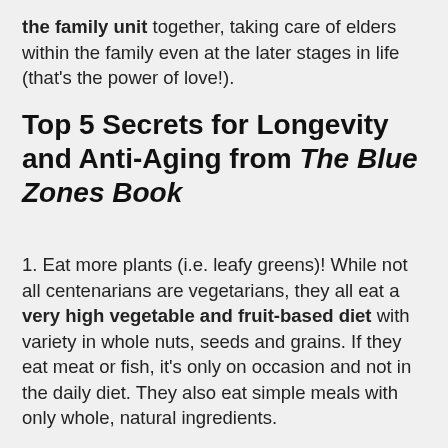the family unit together, taking care of elders within the family even at the later stages in life (that's the power of love!).
Top 5 Secrets for Longevity and Anti-Aging from The Blue Zones Book
1. Eat more plants (i.e. leafy greens)! While not all centenarians are vegetarians, they all eat a very high vegetable and fruit-based diet with variety in whole nuts, seeds and grains. If they eat meat or fish, it's only on occasion and not in the daily diet. They also eat simple meals with only whole, natural ingredients.